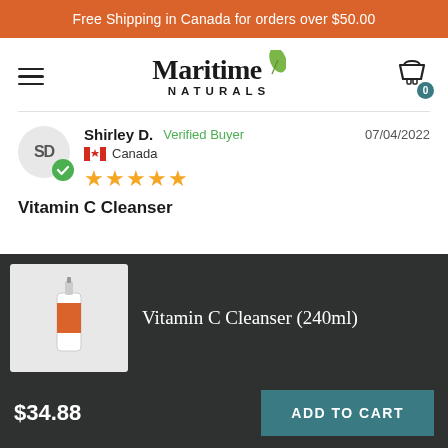Free Shipping in Canada for orders over $50.00
[Figure (logo): Maritime Naturals logo with green leaf above the M in Maritime]
Shirley D.  Verified Buyer  07/04/2022  Canada  5 stars
Vitamin C Cleanser
[Figure (photo): Product image of Vitamin C Cleanser bottle]
Vitamin C Cleanser (240ml)
$34.88
ADD TO CART